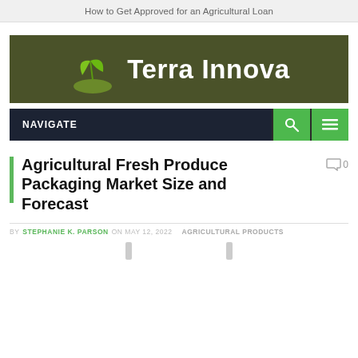How to Get Approved for an Agricultural Loan
[Figure (logo): Terra Innova logo on dark olive green background with green plant/leaf icon]
[Figure (screenshot): Navigation bar with NAVIGATE label and green search and menu buttons]
Agricultural Fresh Produce Packaging Market Size and Forecast
BY STEPHANIE K. PARSON ON MAY 12, 2022   AGRICULTURAL PRODUCTS